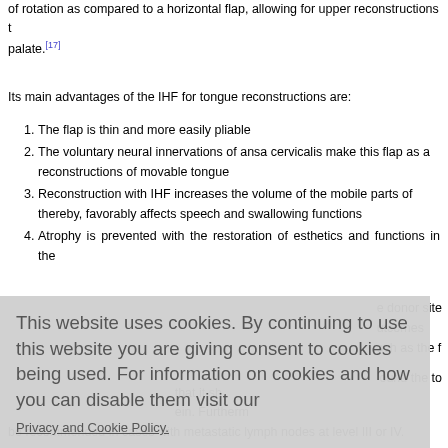of rotation as compared to a horizontal flap, allowing for upper reconstructions the palate.[17]
Its main advantages of the IHF for tongue reconstructions are:
1. The flap is thin and more easily pliable
2. The voluntary neural innervations of ansa cervicalis make this flap as a reconstructions of movable tongue
3. Reconstruction with IHF increases the volume of the mobile parts of thereby, favorably affects speech and swallowing functions
4. Atrophy is prevented with the restoration of esthetics and functions in the
e donor site outcomes ach as the fl ound the to
This website uses cookies. By continuing to use this website you are giving consent to cookies being used. For information on cookies and how you can disable them visit our Privacy and Cookie Policy.
AGREE & PROCEED
that it sh ein. Furtherm be recommended in cases with metastatic lymph nodes at level III or IV.